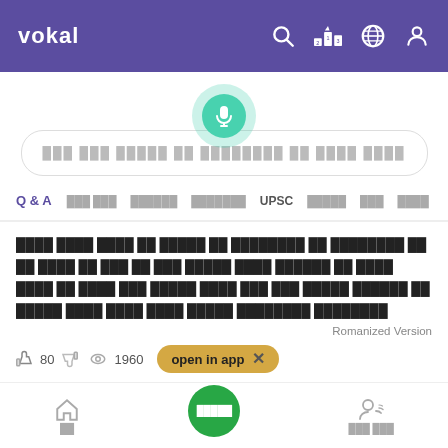vokal
[Figure (screenshot): Search bar with microphone button and Devanagari placeholder text]
Q & A | UPSC | (tab navigation with Devanagari labels)
Hindi/Devanagari script content text block
Romanized Version
80  1960  open in app
1 (Devanagari word)
Home | (center button with Devanagari) | (user icon with Devanagari)